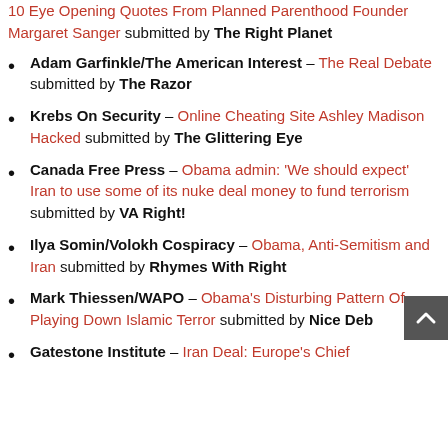Life News – 10 Eye Opening Quotes From Planned Parenthood Founder Margaret Sanger submitted by The Right Planet
Adam Garfinkle/The American Interest – The Real Debate submitted by The Razor
Krebs On Security – Online Cheating Site Ashley Madison Hacked submitted by The Glittering Eye
Canada Free Press – Obama admin: 'We should expect' Iran to use some of its nuke deal money to fund terrorism submitted by VA Right!
Ilya Somin/Volokh Cospiracy – Obama, Anti-Semitism and Iran submitted by Rhymes With Right
Mark Thiessen/WAPO – Obama's Disturbing Pattern Of Playing Down Islamic Terror submitted by Nice Deb
Gatestone Institute – Iran Deal: Europe's Chief